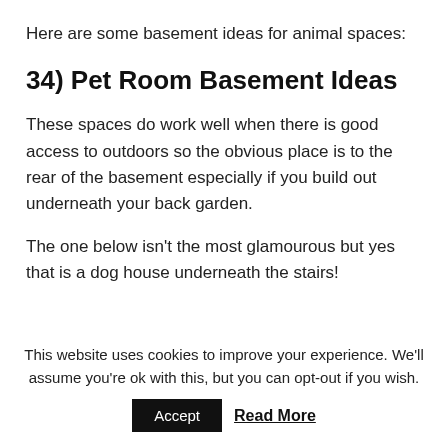Here are some basement ideas for animal spaces:
34) Pet Room Basement Ideas
These spaces do work well when there is good access to outdoors so the obvious place is to the rear of the basement especially if you build out underneath your back garden.
The one below isn't the most glamourous but yes that is a dog house underneath the stairs!
This website uses cookies to improve your experience. We'll assume you're ok with this, but you can opt-out if you wish.
Accept   Read More